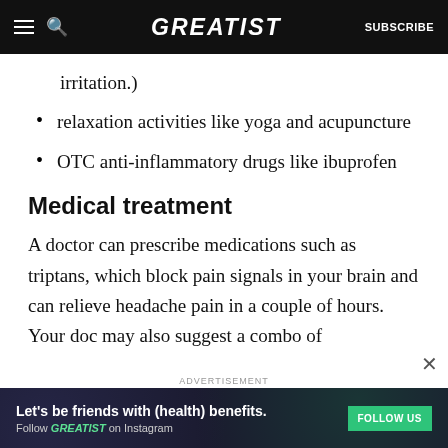GREATIST | SUBSCRIBE
irritation.)
relaxation activities like yoga and acupuncture
OTC anti-inflammatory drugs like ibuprofen
Medical treatment
A doctor can prescribe medications such as triptans, which block pain signals in your brain and can relieve headache pain in a couple of hours. Your doc may also suggest a combo of
ADVERTISEMENT
Let's be friends with (health) benefits. Follow GREATIST on Instagram FOLLOW US